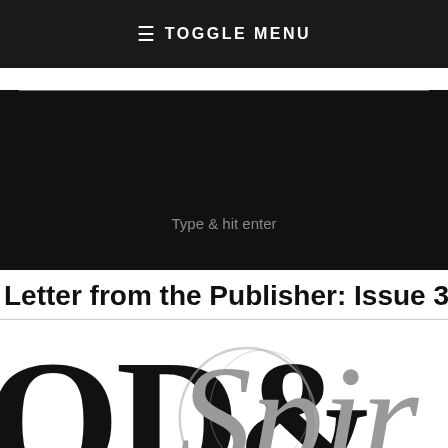≡ TOGGLE MENU
[Figure (screenshot): Dark search overlay with a horizontal divider line and placeholder text 'Type & hit enter']
Letter from the Publisher: Issue 3
[Figure (logo): Food & Spirits Magazine | Omaha logo — large bold black serif letters 'OD&' with stylized grey script 'Spir' and text 'MAGAZINE | OMAH' below]